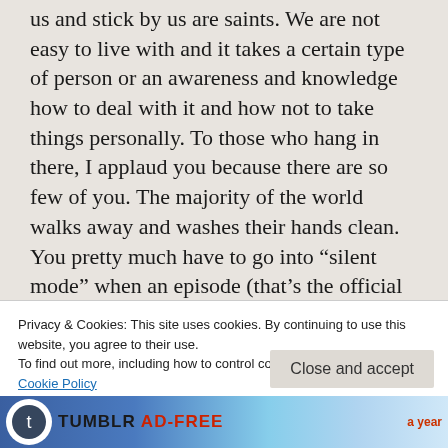us and stick by us are saints. We are not easy to live with and it takes a certain type of person or an awareness and knowledge how to deal with it and how not to take things personally. To those who hang in there, I applaud you because there are so few of you. The majority of the world walks away and washes their hands clean. You pretty much have to go into “silent mode” when an episode (that’s the official term for it) happens and just refuse to take it
Privacy & Cookies: This site uses cookies. By continuing to use this website, you agree to their use.
To find out more, including how to control cookies, see here: Cookie Policy
Close and accept
[Figure (illustration): Tumblr AD-FREE advertisement banner at the bottom of the page]